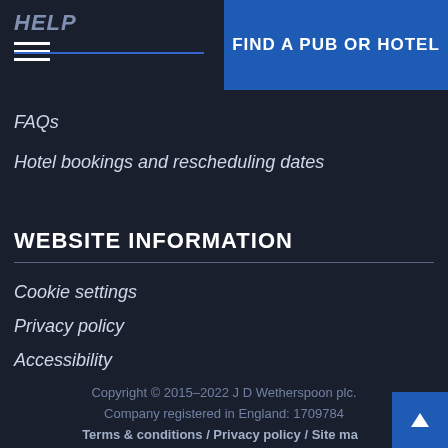HELP | FIND A PUB OR HOTEL
FAQs
Hotel bookings and rescheduling dates
WEBSITE INFORMATION
Cookie settings
Privacy policy
Accessibility
Gender pay gap report
Copyright © 2015–2022 J D Wetherspoon plc. Company registered in England: 1709784 Terms & conditions / Privacy policy / Site map